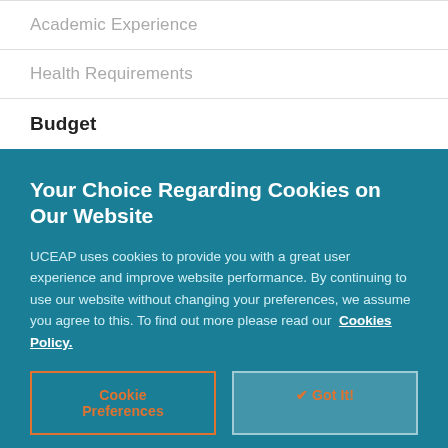Academic Experience
Health Requirements
Budget
Your Choice Regarding Cookies on Our Website
UCEAP uses cookies to provide you with a great user experience and improve website performance. By continuing to use our website without changing your preferences, we assume you agree to this. To find out more please read our Cookies Policy.
Cookie Preferences
✔ Got It!